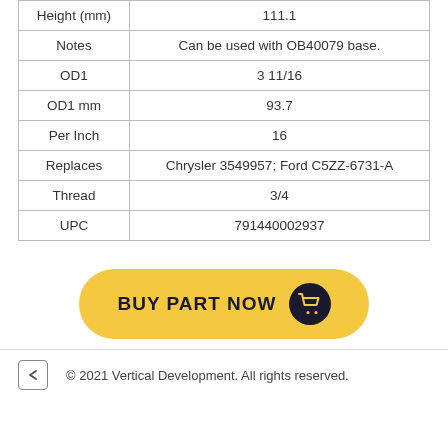| Property | Value |
| --- | --- |
| Height (mm) | 111.1 |
| Notes | Can be used with OB40079 base. |
| OD1 | 3 11/16 |
| OD1 mm | 93.7 |
| Per Inch | 16 |
| Replaces | Chrysler 3549957; Ford C5ZZ-6731-A |
| Thread | 3/4 |
| UPC | 791440002937 |
[Figure (other): Yellow 'BUY PART NOW' button with dark navy shopping cart icon on the right]
© 2021 Vertical Development. All rights reserved.